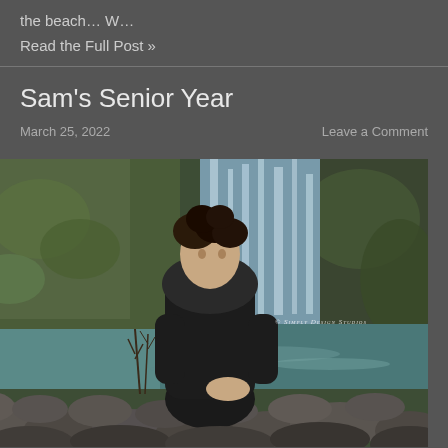the beach… W…
Read the Full Post »
Sam's Senior Year
March 25, 2022
Leave a Comment
[Figure (photo): A teenage boy with curly hair wearing a black hoodie crouches on rocks in front of a waterfall and a pool of teal water. The background shows green mossy rocks. A watermark reads '© Simply Design Studios'.]